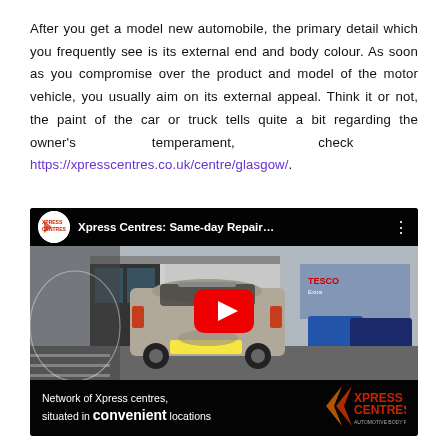After you get a model new automobile, the primary detail which you frequently see is its external end and body colour. As soon as you compromise over the product and model of the motor vehicle, you usually aim on its external appeal. Think it or not, the paint of the car or truck tells quite a bit regarding the owner's temperament, check https://xpresscentres.co.uk/centre/glasgow/.
[Figure (screenshot): YouTube video thumbnail for 'Xpress Centres: Same-day Repair...' showing a silver car from behind in a parking lot with a YouTube play button overlay and text 'Network of Xpress centres, situated in convenient locations' with Xpress Centres logo.]